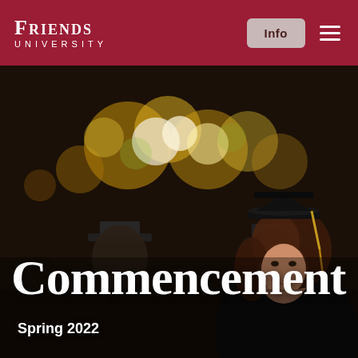Friends University
[Figure (photo): Graduation ceremony photo showing smiling graduates in black caps and gowns, with bokeh lights in the background. A young woman with brown hair wearing a graduation cap is prominently featured on the right side.]
Commencement
Spring 2022